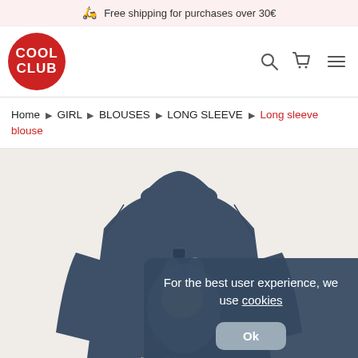🛵 Free shipping for purchases over 30€
[Figure (logo): Cool Club red circle logo with white text COOL CLUB]
Home ▶ GIRL ▶ BLOUSES ▶ LONG SLEEVE ▶ Long sleeve blouse
[Figure (photo): A navy blue long-sleeve children's blouse with a floral bunny rabbit graphic print. A cookie consent dialog overlays the lower right portion of the image.]
For the best user experience, we use cookies